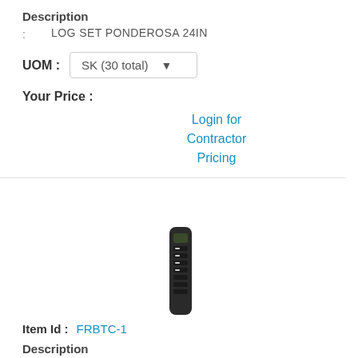Description
: LOG SET PONDEROSA 24IN
UOM : SK (30 total)
Your Price :
Login for Contractor Pricing
[Figure (photo): A black battery-operated remote control device, tall and narrow]
Item Id : FRBTC-1
Description
: REMOTE CONTROL BATTERY OP